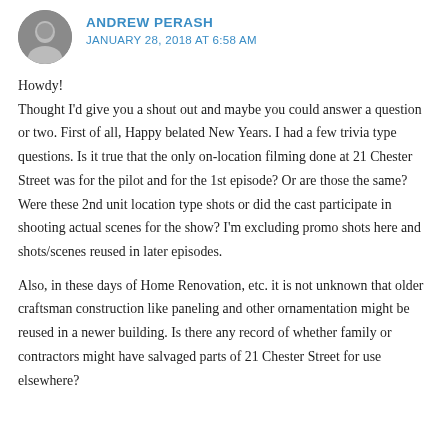ANDREW PERASH
JANUARY 28, 2018 AT 6:58 AM
Howdy!
Thought I'd give you a shout out and maybe you could answer a question or two. First of all, Happy belated New Years. I had a few trivia type questions. Is it true that the only on-location filming done at 21 Chester Street was for the pilot and for the 1st episode? Or are those the same? Were these 2nd unit location type shots or did the cast participate in shooting actual scenes for the show? I'm excluding promo shots here and shots/scenes reused in later episodes.
Also, in these days of Home Renovation, etc. it is not unknown that older craftsman construction like paneling and other ornamentation might be reused in a newer building. Is there any record of whether family or contractors might have salvaged parts of 21 Chester Street for use elsewhere?